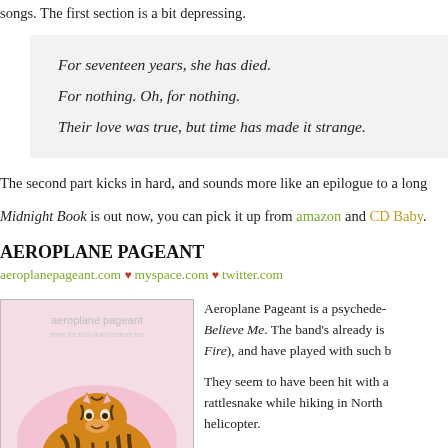songs. The first section is a bit depressing.
For seventeen years, she has died.
For nothing. Oh, for nothing.
Their love was true, but time has made it strange.
The second part kicks in hard, and sounds more like an epilogue to a long
Midnight Book is out now, you can pick it up from amazon and CD Baby.
AEROPLANE PAGEANT
aeroplanepageant.com ♥ myspace.com ♥ twitter.com
[Figure (photo): Album cover for Aeroplane Pageant featuring a tiger illustration on a pink/white background with band name text overlay]
Aeroplane Pageant is a psychede- Believe Me. The band's already is Fire), and have played with such b
They seem to have been hit with a rattlesnake while hiking in North helicopter.